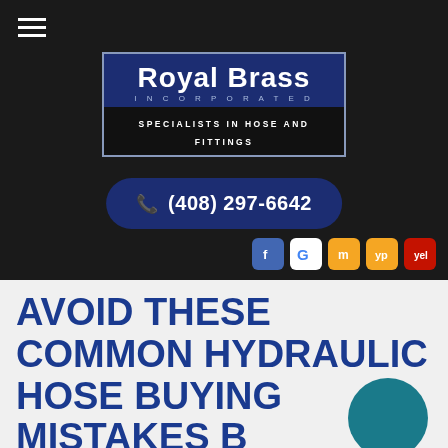[Figure (logo): Royal Brass Incorporated logo - dark blue rectangle with white text reading ROYAL BRASS INCORPORATED, tagline SPECIALISTS IN HOSE AND FITTINGS]
(408) 297-6642
[Figure (infographic): Social media icons: Facebook, Google, MapQuest, YellowPages, Yelp]
AVOID THESE COMMON HYDRAULIC HOSE BUYING MISTAKES BY WORKING WITH OUR